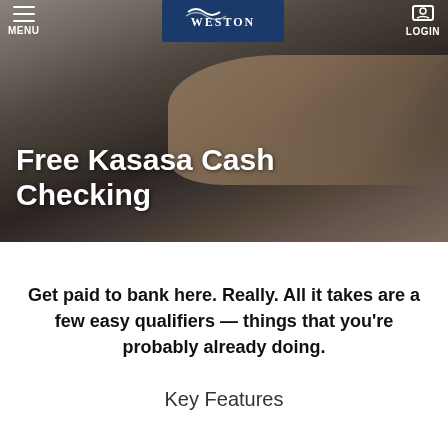[Figure (photo): Hero banner photo of hands typing on a laptop keyboard, with a bank website navigation bar overlaid showing MENU on the left, WESTON logo in the center on dark blue background, and LOGIN on the right. White bold text reads 'Free Kasasa Cash Checking' overlaid on the photo.]
Free Kasasa Cash Checking
Get paid to bank here. Really. All it takes are a few easy qualifiers — things that you're probably already doing.
Key Features